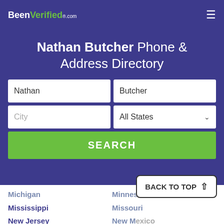BeenVerified.com
Nathan Butcher Phone & Address Directory
Nathan | Butcher
City | All States
SEARCH
Michigan
Minnesota
Mississippi
Missouri
New Jersey
New Mexico
North Carolina
Oklahoma
BACK TO TOP ↑